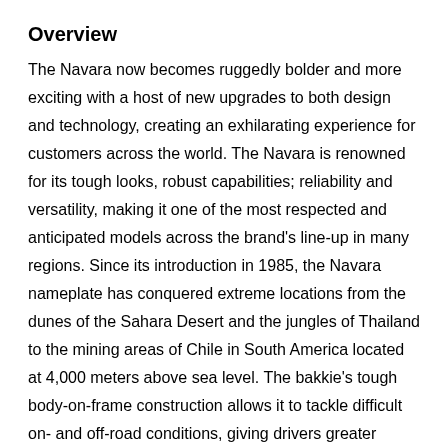Overview
The Navara now becomes ruggedly bolder and more exciting with a host of new upgrades to both design and technology, creating an exhilarating experience for customers across the world. The Navara is renowned for its tough looks, robust capabilities; reliability and versatility, making it one of the most respected and anticipated models across the brand's line-up in many regions. Since its introduction in 1985, the Navara nameplate has conquered extreme locations from the dunes of the Sahara Desert and the jungles of Thailand to the mining areas of Chile in South America located at 4,000 meters above sea level. The bakkie's tough body-on-frame construction allows it to tackle difficult on- and off-road conditions, giving drivers greater freedom to go anywhere with